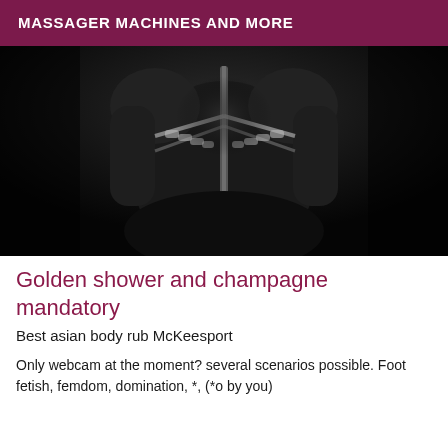MASSAGER MACHINES AND MORE
[Figure (photo): Black and white photograph of a person in dark leather/latex clothing with chain details, dimly lit against a black background]
Golden shower and champagne mandatory
Best asian body rub McKeesport
Only webcam at the moment? several scenarios possible. Foot fetish, femdom, domination, *, (*o by you)